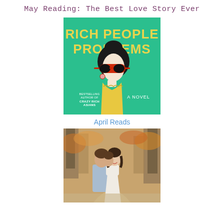May Reading: The Best Love Story Ever
[Figure (illustration): Book cover of 'Rich People Problems' - teal/green background with illustrated woman in red sunglasses, bold yellow title text, subtitle 'Bestselling Author of Crazy Rich Asians', 'A Novel']
April Reads
[Figure (photo): Outdoor photograph of a couple in a wooded/forest setting with autumn foliage. A man kisses a woman on the cheek; she smiles and wears a white dress. Trees and a path visible in background.]